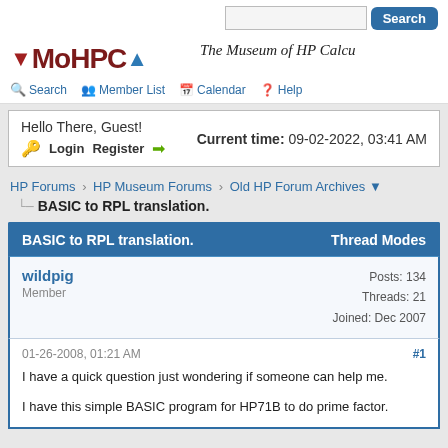MoHPCA - The Museum of HP Calculators | Search | Member List | Calendar | Help
Hello There, Guest! Current time: 09-02-2022, 03:41 AM Login Register
HP Forums › HP Museum Forums › Old HP Forum Archives
BASIC to RPL translation.
BASIC to RPL translation. Thread Modes
wildpig
Member
Posts: 134
Threads: 21
Joined: Dec 2007
01-26-2008, 01:21 AM #1

I have a quick question just wondering if someone can help me.

I have this simple BASIC program for HP71B to do prime factor.